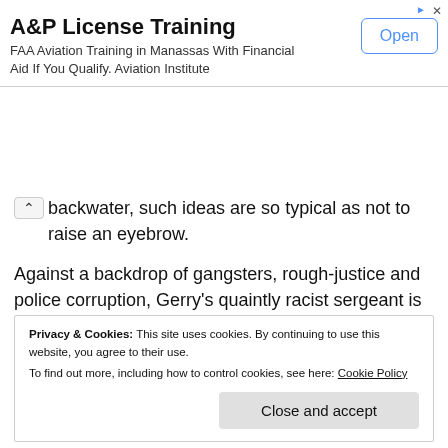[Figure (screenshot): Advertisement banner for A&P License Training. Title: 'A&P License Training'. Body text: 'FAA Aviation Training in Manassas With Financial Aid If You Qualify. Aviation Institute'. Button: 'Open'. Small ad icons in top right.]
backwater, such ideas are so typical as not to raise an eyebrow.
Against a backdrop of gangsters, rough-justice and police corruption, Gerry's quaintly racist sergeant is torn between whether he should rise to the challenge of single-handedly saving the world or sitting on his backside, drinking beer and enjoying the company of ladies of the night, as drug dealers and crooked cops do business in the shadows.
Privacy & Cookies: This site uses cookies. By continuing to use this website, you agree to their use. To find out more, including how to control cookies, see here: Cookie Policy  Close and accept